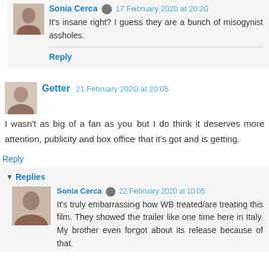[Figure (photo): Avatar of Sonia Cerca (small, top nested comment)]
Sonia Cerca  17 February 2020 at 20:20
It's insane right? I guess they are a bunch of misogynist assholes.
Reply
[Figure (photo): Avatar of Getter]
Getter  21 February 2020 at 20:05
I wasn't as big of a fan as you but I do think it deserves more attention, publicity and box office that it's got and is getting.
Reply
▾ Replies
[Figure (photo): Avatar of Sonia Cerca (bottom nested comment)]
Sonia Cerca  22 February 2020 at 10:05
It's truly embarrassing how WB treated/are treating this film. They showed the trailer like one time here in Italy. My brother even forgot about its release because of that.